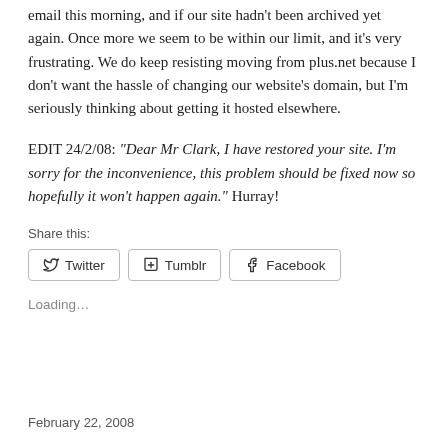email this morning, and if our site hadn't been archived yet again. Once more we seem to be within our limit, and it's very frustrating. We do keep resisting moving from plus.net because I don't want the hassle of changing our website's domain, but I'm seriously thinking about getting it hosted elsewhere.
EDIT 24/2/08: "Dear Mr Clark, I have restored your site. I'm sorry for the inconvenience, this problem should be fixed now so hopefully it won't happen again." Hurray!
Share this:
Twitter  Tumblr  Facebook
Loading...
February 22, 2008